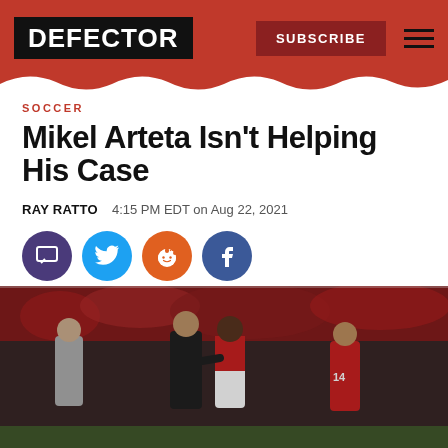DEFECTOR | SUBSCRIBE
SOCCER
Mikel Arteta Isn’t Helping His Case
RAY RATTO   4:15 PM EDT on Aug 22, 2021
[Figure (other): Social sharing icons: comment (88), Twitter, Reddit, Facebook]
[Figure (photo): Mikel Arteta on the pitch with Arsenal players after a match, fans in red seats visible in background]